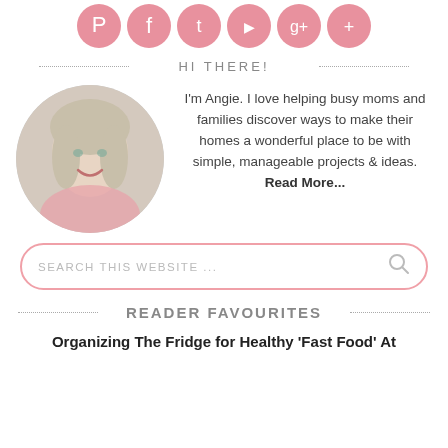[Figure (illustration): Row of pink circular social media icons: Pinterest, Facebook, Twitter, YouTube, Google+, and another icon]
HI THERE!
[Figure (photo): Circular cropped portrait photo of a smiling blonde woman named Angie]
I'm Angie. I love helping busy moms and families discover ways to make their homes a wonderful place to be with simple, manageable projects & ideas. Read More...
[Figure (other): Search box with placeholder text SEARCH THIS WEBSITE ... and a search icon]
READER FAVOURITES
Organizing The Fridge for Healthy 'Fast Food' At